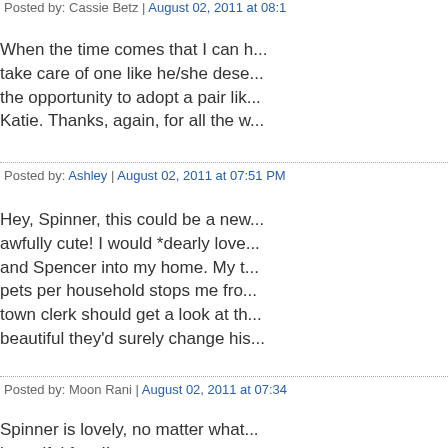Posted by: Cassie Betz | August 02, 2011 at 08:1...
When the time comes that I can t... take care of one like he/she dese... the opportunity to adopt a pair lik... Katie. Thanks, again, for all the w...
Posted by: Ashley | August 02, 2011 at 07:51 PM
Hey, Spinner, this could be a new... awfully cute! I would *dearly love... and Spencer into my home. My t... pets per household stops me fro... town clerk should get a look at th... beautiful they'd surely change his...
Posted by: Moon Rani | August 02, 2011 at 07:34...
Spinner is lovely, no matter what... beautiful face!!